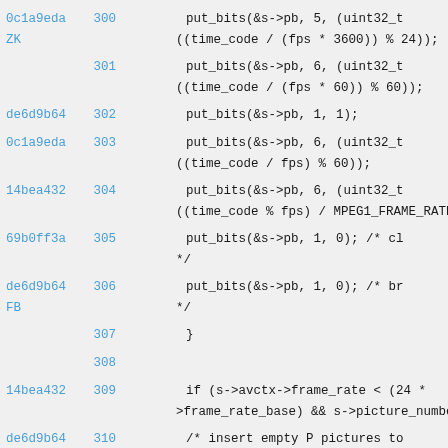0c1a9eda 300   put_bits(&s->pb, 5, (uint32_t
ZK              ((time_code / (fps * 3600)) % 24));
301   put_bits(&s->pb, 6, (uint32_t
         ((time_code / (fps * 60)) % 60));
de6d9b64 302   put_bits(&s->pb, 1, 1);
0c1a9eda 303   put_bits(&s->pb, 6, (uint32_t
         ((time_code / fps) % 60));
14bea432 304   put_bits(&s->pb, 6, (uint32_t
         ((time_code % fps) / MPEG1_FRAME_RATE_BAS
69b0ff3a 305   put_bits(&s->pb, 1, 0); /* cl
         */
de6d9b64 306   put_bits(&s->pb, 1, 0); /* br
FB       */
307   }
308
14bea432 309   if (s->avctx->frame_rate < (24 *
         >frame_rate_base) && s->picture_number >
de6d9b64 310   /* insert empty P pictures to